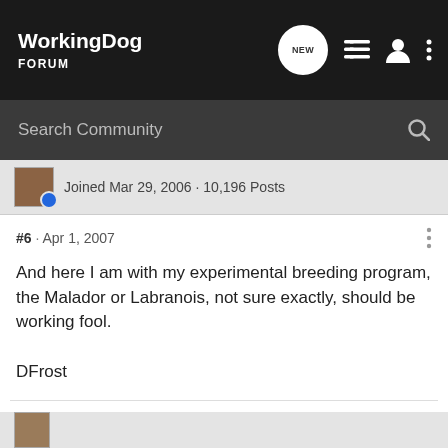WorkingDog FORUM
Search Community
Joined Mar 29, 2006 · 10,196 Posts
#6 · Apr 1, 2007
And here I am with my experimental breeding program, the Malador or Labranois, not sure exactly, should be working fool.

DFrost
DFrost